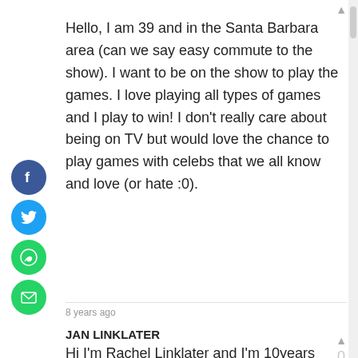Hello, I am 39 and in the Santa Barbara area (can we say easy commute to the show). I want to be on the show to play the games. I love playing all types of games and I play to win! I don't really care about being on TV but would love the chance to play games with celebs that we all know and love (or hate :0).
8 years ago
JAN LINKLATER
Hi I'm Rachel Linklater and I'm 10years old my mom jan Linklater is 49 years old, we watch your